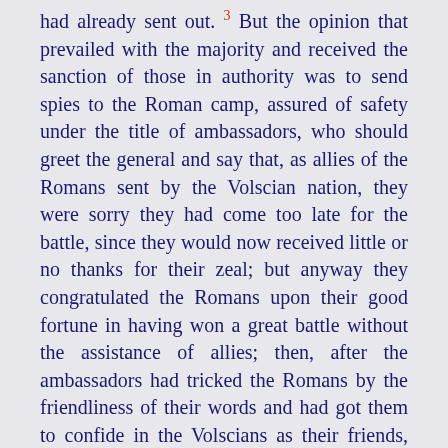had already sent out. 3 But the opinion that prevailed with the majority and received the sanction of those in authority was to send spies to the Roman camp, assured of safety under the title of ambassadors, who should greet the general and say that, as allies of the Romans sent by the Volscian nation, they were sorry they had come too late for the battle, since they would now received little or no thanks for their zeal; but anyway they congratulated the Romans upon their good fortune in having won a great battle without the assistance of allies; then, after the ambassadors had tricked the Romans by the friendliness of their words and had got them to confide in the Volscians as their friends, they were to spy out everything and bring back word concerning the Romans' strength, their arms, their preparations, and anything